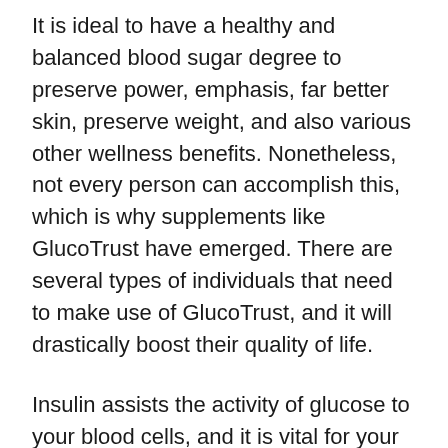It is ideal to have a healthy and balanced blood sugar degree to preserve power, emphasis, far better skin, preserve weight, and also various other wellness benefits. Nonetheless, not every person can accomplish this, which is why supplements like GlucoTrust have emerged. There are several types of individuals that need to make use of GlucoTrust, and it will drastically boost their quality of life.
Insulin assists the activity of glucose to your blood cells, and it is vital for your body due to the fact that receiving sugar in the blood cells gives energy. Individuals that have a higher level of blood sugar in their bodies have problems with their insulin hormonal agents. This can additionally result in diabetes, and it typically becomes an extreme